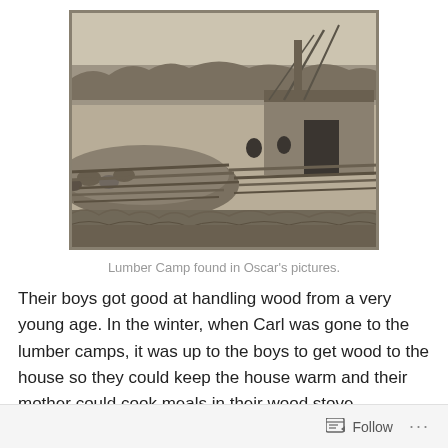[Figure (photo): Black and white vintage photograph of a lumber camp, showing large piles of logs and timber, workers, and a small structure or building in the background. Trees visible in the far background. Sepia/monochrome tone.]
Lumber Camp found in Oscar's pictures.
Their boys got good at handling wood from a very young age. In the winter, when Carl was gone to the lumber camps, it was up to the boys to get wood to the house so they could keep the house warm and their mother could cook meals in their wood stove.
Follow ...